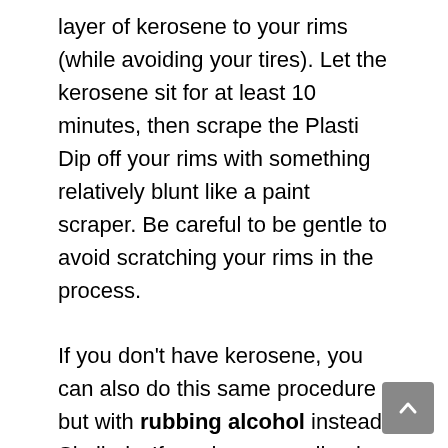layer of kerosene to your rims (while avoiding your tires). Let the kerosene sit for at least 10 minutes, then scrape the Plasti Dip off your rims with something relatively blunt like a paint scraper. Be careful to be gentle to avoid scratching your rims in the process.
If you don't have kerosene, you can also do this same procedure but with rubbing alcohol instead. Similarly, If you have an adhesive remover like Goo Gone on hand, this can also be pretty effective for removing Plasti Dip.